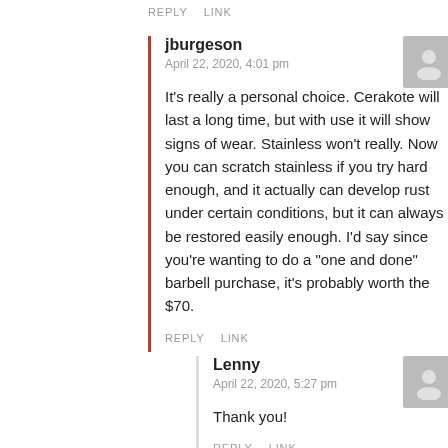REPLY   LINK
jburgeson
April 22, 2020, 4:01 pm
It's really a personal choice. Cerakote will last a long time, but with use it will show signs of wear. Stainless won't really. Now you can scratch stainless if you try hard enough, and it actually can develop rust under certain conditions, but it can always be restored easily enough. I'd say since you're wanting to do a "one and done" barbell purchase, it's probably worth the $70.
REPLY   LINK
Lenny
April 22, 2020, 5:27 pm
Thank you!
REPLY   LINK